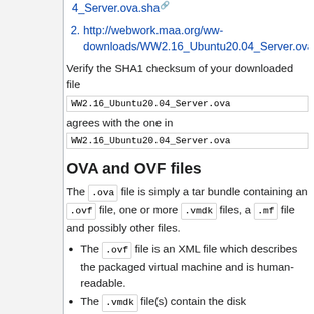http://webwork.maa.org/ww-downloads/WW2.16_Ubuntu20.04_Server.ova.sha
http://webwork.maa.org/ww-downloads/WW2.16_Ubuntu20.04_Server.ova
Verify the SHA1 checksum of your downloaded file
WW2.16_Ubuntu20.04_Server.ova
agrees with the one in
WW2.16_Ubuntu20.04_Server.ova
OVA and OVF files
The .ova file is simply a tar bundle containing an .ovf file, one or more .vmdk files, a .mf file and possibly other files.
The .ovf file is an XML file which describes the packaged virtual machine and is human-readable.
The .vmdk file(s) contain the disk